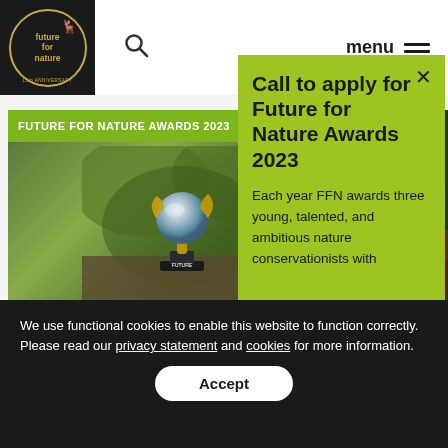[Figure (logo): Future for Nature logo — circular gold border on black background with deer/nature icon and organization name]
[Figure (screenshot): Website screenshot showing Future for Nature Awards 2023 page with trophy photo and green banner reading FUTURE FOR NATURE AWARDS 2023]
[Figure (photo): Partial photo on right side — outdoor nature scene with red accent]
[Figure (screenshot): Green popup overlay showing call to apply for Future for Nature Awards 2023 with X close button]
Call to apply for Future for Nature Awards 2023
Each year FFN awards three young, talented, and ambitious nature conservationists with
We use functional cookies to enable this website to function correctly. Please read our privacy statement and cookies for more information.